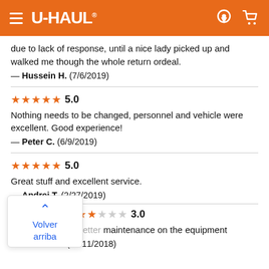U-HAUL navigation header
due to lack of response, until a nice lady picked up and walked me though the whole return ordeal.
— Hussein H.  (7/6/2019)
★★★★★ 5.0
Nothing needs to be changed, personnel and vehicle were excellent. Good experience!
— Peter C.  (6/9/2019)
★★★★★ 5.0
Great stuff and excellent service.
— Andrei T.  (2/27/2019)
★★★ 3.0
Better maintenance on the equipment
— JAMES W.  (11/11/2018)